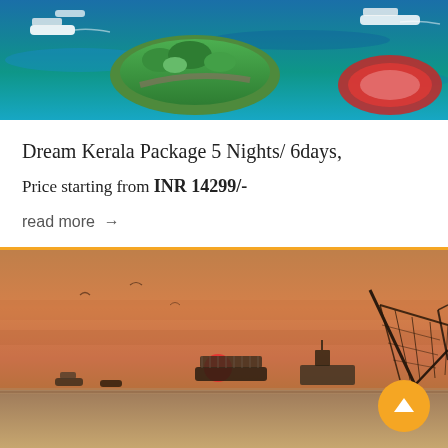[Figure (photo): Aerial view of a coastal island or backwater area with turquoise blue water, boats, palm trees, and circular structures — Kerala tourism]
Dream Kerala Package 5 Nights/ 6days,
Price starting from INR 14299/-
read more →
[Figure (photo): Sunset over a Kerala beach/backwater with silhouettes of Chinese fishing nets, boats, and a ship in an orange-hued sky]